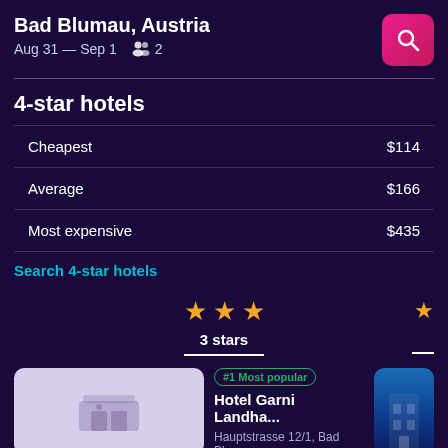Bad Blumau, Austria
Aug 31 — Sep 1  2
4-star hotels
|  | Price |
| --- | --- |
| Cheapest | $114 |
| Average | $166 |
| Most expensive | $435 |
Search 4-star hotels
[Figure (infographic): 3 gold stars with label '3 stars' below, and a partial star on the right]
#1 Most popular
Hotel Garni Landha...
Hauptstrasse 12/1, Bad Blu...